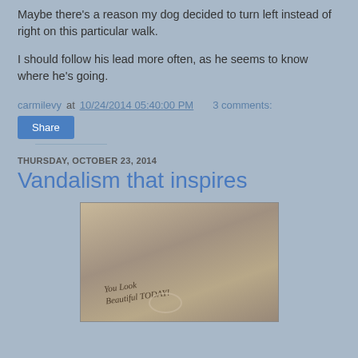Maybe there's a reason my dog decided to turn left instead of right on this particular walk.
I should follow his lead more often, as he seems to know where he's going.
carmilevy at 10/24/2014 05:40:00 PM    3 comments:
Share
THURSDAY, OCTOBER 23, 2014
Vandalism that inspires
[Figure (photo): Photo of concrete or sandy surface with text scratched or written into it reading 'You look beautiful today!' with a circular shape below]